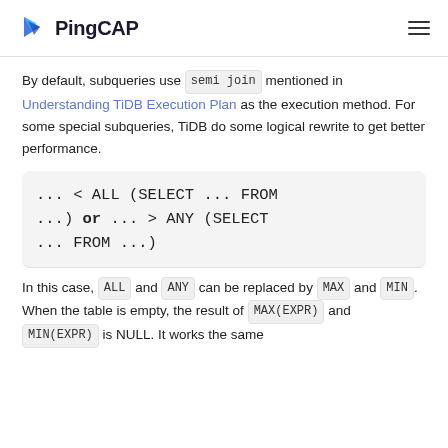PingCAP
By default, subqueries use semi join mentioned in Understanding TiDB Execution Plan as the execution method. For some special subqueries, TiDB do some logical rewrite to get better performance.
In this case, ALL and ANY can be replaced by MAX and MIN. When the table is empty, the result of MAX(EXPR) and MIN(EXPR) is NULL. It works the same